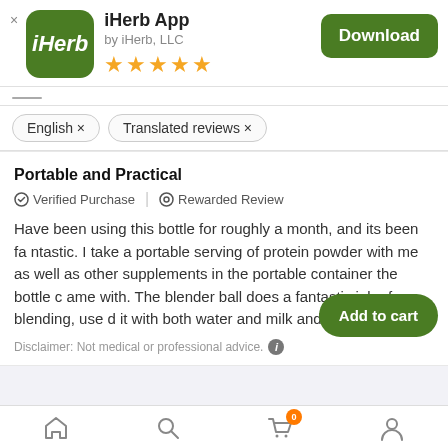[Figure (screenshot): iHerb app icon: green rounded rectangle with white italic 'iHerb' text]
iHerb App
by iHerb, LLC
[Figure (other): Five gold star rating]
Download
English ×    Translated reviews ×
Portable and Practical
✓ Verified Purchase  |  ⊙ Rewarded Review
Have been using this bottle for roughly a month, and its been fantastic. I take a portable serving of protein powder with me as well as other supplements in the portable container the bottle came with. The blender ball does a fantastic job of blending, used it with both water and milk and the results are g
Disclaimer: Not medical or professional advice. ⓘ
Add to cart
Home  Search  Cart (0)  Account